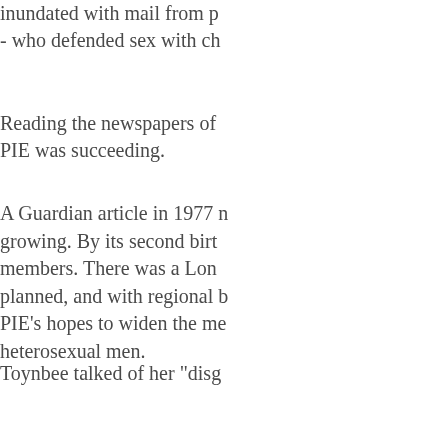inundated with mail from p... - who defended sex with ch...
Reading the newspapers of ... PIE was succeeding.
A Guardian article in 1977 n... growing. By its second birt... members. There was a Lon... planned, and with regional b... PIE's hopes to widen the m... heterosexual men.
Toynbee talked of her "disg... but added that she had "a si... or so, their aims would eve... liberal credo, and we would...
There was a battle raging ov...
Some, such as philosopher l... speech had to be sacrificed ... Times piece in September 1... prevented from 'coming out...